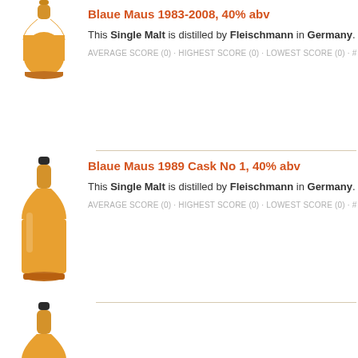[Figure (photo): Whisky bottle illustration - orange/amber colored bottle, Blaue Maus 1983-2008]
Blaue Maus 1983-2008, 40% abv
This Single Malt is distilled by Fleischmann in Germany.
AVERAGE SCORE (0) · HIGHEST SCORE (0) · LOWEST SCORE (0) · #
[Figure (photo): Whisky bottle illustration - orange/amber colored bottle, Blaue Maus 1989 Cask No 1]
Blaue Maus 1989 Cask No 1, 40% abv
This Single Malt is distilled by Fleischmann in Germany.
AVERAGE SCORE (0) · HIGHEST SCORE (0) · LOWEST SCORE (0) · #
[Figure (photo): Whisky bottle illustration - orange/amber colored bottle, partial view at bottom]